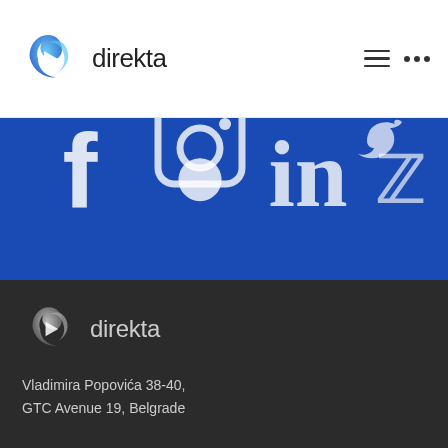[Figure (logo): Direkta logo with blue swirl icon and 'direkta' text in dark gray]
[Figure (infographic): Blue background section showing social media icons: Facebook, Instagram, LinkedIn, Twitter - large white icons partially cropped]
[Figure (logo): Direkta footer logo with dark/grayscale swirl icon and 'direkta' text in light gray on dark background]
Vladimira Popovića 38-40, GTC Avenue 19, Belgrade